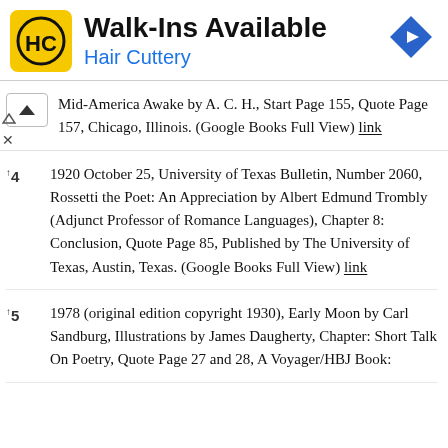[Figure (logo): Hair Cuttery advertisement banner with yellow HC logo, 'Walk-Ins Available' heading, 'Hair Cuttery' subtitle in blue, and a blue navigation diamond icon]
Mid-America Awake by A. C. H., Start Page 155, Quote Page 157, Chicago, Illinois. (Google Books Full View) link
↑4  1920 October 25, University of Texas Bulletin, Number 2060, Rossetti the Poet: An Appreciation by Albert Edmund Trombly (Adjunct Professor of Romance Languages), Chapter 8: Conclusion, Quote Page 85, Published by The University of Texas, Austin, Texas. (Google Books Full View) link
↑5  1978 (original edition copyright 1930), Early Moon by Carl Sandburg, Illustrations by James Daugherty, Chapter: Short Talk On Poetry, Quote Page 27 and 28, A Voyager/HBJ Book: